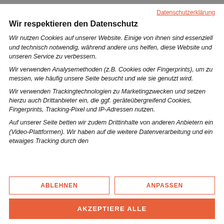Datenschutzerklärung
Wir respektieren den Datenschutz
Wir nutzen Cookies auf unserer Website. Einige von ihnen sind essenziell und technisch notwendig, während andere uns helfen, diese Website und unseren Service zu verbessern.
Wir verwenden Analysemethoden (z.B. Cookies oder Fingerprints), um zu messen, wie häufig unsere Seite besucht und wie sie genutzt wird.
Wir verwenden Trackingtechnologien zu Marketingzwecken und setzen hierzu auch Drittanbieter ein, die ggf. geräteübergreifend Cookies, Fingerprints, Tracking-Pixel und IP-Adressen nutzen.
Auf unserer Seite betten wir zudem Drittinhalte von anderen Anbietern ein (Video-Plattformen). Wir haben auf die weitere Datenverarbeitung und ein etwaiges Tracking durch den
ABLEHNEN
ANPASSEN
AKZEPTIERE ALLE